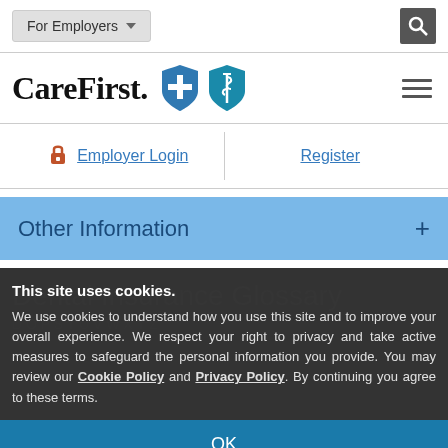For Employers
[Figure (logo): CareFirst BlueCross BlueShield logo with shield icons]
Employer Login | Register
Other Information +
Dental Insurance Glossary
This site uses cookies.

We use cookies to understand how you use this site and to improve your overall experience. We respect your right to privacy and take active measures to safeguard the personal information you provide. You may review our Cookie Policy and Privacy Policy. By continuing you agree to these terms.
OK